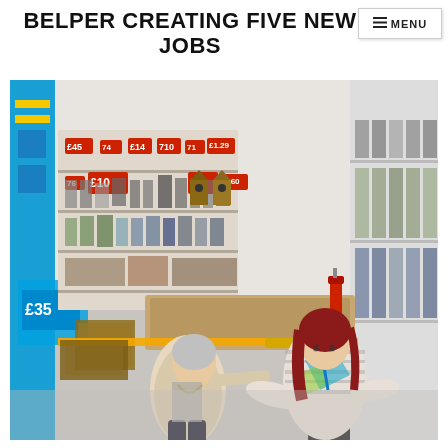BELPER CREATING FIVE NEW JOBS
[Figure (photo): Photo of two women inside a retail store. One woman with short grey hair wearing a beige jacket with a mayoral chain, holding a golden ribbon or scissors. The other woman has long red hair and is wearing a patterned blouse with a blue lanyard. Store shelves with price tags visible in background, including signs showing £10, £2, £35, £45 and other prices.]